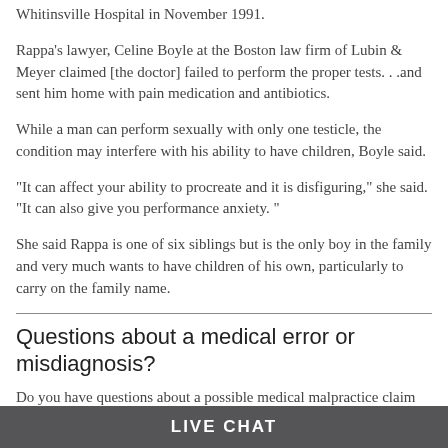Whitinsville Hospital in November 1991.
Rappa's lawyer, Celine Boyle at the Boston law firm of Lubin & Meyer claimed [the doctor] failed to perform the proper tests. . .and sent him home with pain medication and antibiotics.
While a man can perform sexually with only one testicle, the condition may interfere with his ability to have children, Boyle said.
"It can affect your ability to procreate and it is disfiguring," she said. "It can also give you performance anxiety. "
She said Rappa is one of six siblings but is the only boy in the family and very much wants to have children of his own, particularly to carry on the family name.
Questions about a medical error or misdiagnosis?
Do you have questions about a possible medical malpractice claim involving a misdiagnosis or medical error?
Contact Us - There is no fee or cost to you to have your case
LIVE CHAT